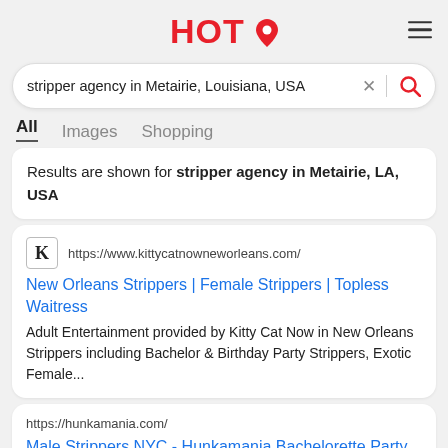HOT (logo with pin icon) and hamburger menu
stripper agency in Metairie, Louisiana, USA
All  Images  Shopping
Results are shown for stripper agency in Metairie, LA, USA
https://www.kittycatnowneworleans.com/
New Orleans Strippers | Female Strippers | Topless Waitress
Adult Entertainment provided by Kitty Cat Now in New Orleans Strippers including Bachelor & Birthday Party Strippers, Exotic Female...
https://hunkamania.com/
Male Strippers NYC - Hunkamania Bachelorette Party New ...
Male Strippers - Hunkamania - Male Strip Club in New York